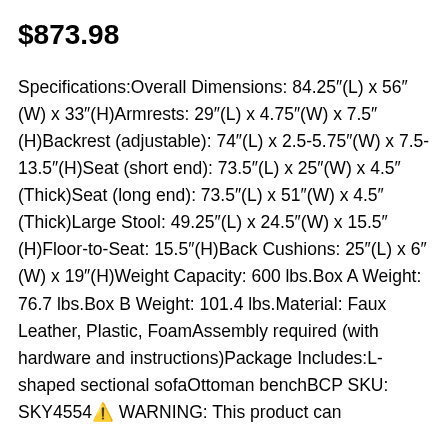$873.98
Specifications:Overall Dimensions: 84.25″(L) x 56″(W) x 33″(H)Armrests: 29″(L) x 4.75″(W) x 7.5″(H)Backrest (adjustable): 74″(L) x 2.5-5.75″(W) x 7.5-13.5″(H)Seat (short end): 73.5″(L) x 25″(W) x 4.5″(Thick)Seat (long end): 73.5″(L) x 51″(W) x 4.5″(Thick)Large Stool: 49.25″(L) x 24.5″(W) x 15.5″(H)Floor-to-Seat: 15.5″(H)Back Cushions: 25″(L) x 6″(W) x 19″(H)Weight Capacity: 600 lbs.Box A Weight: 76.7 lbs.Box B Weight: 101.4 lbs.Material: Faux Leather, Plastic, FoamAssembly required (with hardware and instructions)Package Includes:L-shaped sectional sofaOttoman benchBCP SKU: SKY4554⚠️ WARNING: This product can